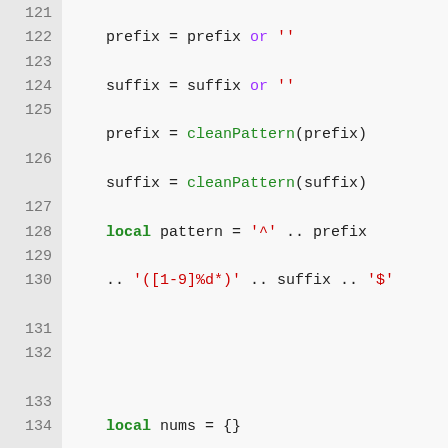[Figure (screenshot): Source code listing in Lua, lines 121-134, showing string pattern construction and numeric key extraction logic. Line numbers displayed in left gutter, syntax highlighted with keywords in bold green, string literals in red, and built-in functions in green.]